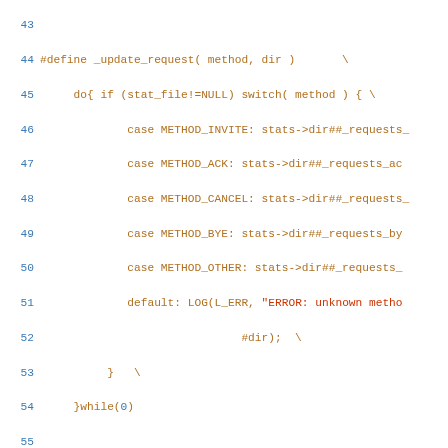[Figure (screenshot): Source code listing showing C preprocessor macro definitions for SIP method/response statistics tracking, lines 43-71, with orange code text and blue line numbers on white background]